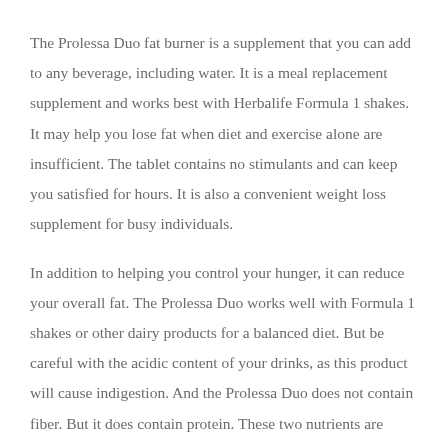The Prolessa Duo fat burner is a supplement that you can add to any beverage, including water. It is a meal replacement supplement and works best with Herbalife Formula 1 shakes. It may help you lose fat when diet and exercise alone are insufficient. The tablet contains no stimulants and can keep you satisfied for hours. It is also a convenient weight loss supplement for busy individuals.
In addition to helping you control your hunger, it can reduce your overall fat. The Prolessa Duo works well with Formula 1 shakes or other dairy products for a balanced diet. But be careful with the acidic content of your drinks, as this product will cause indigestion. And the Prolessa Duo does not contain fiber. But it does contain protein. These two nutrients are crucial for healthy weight loss.